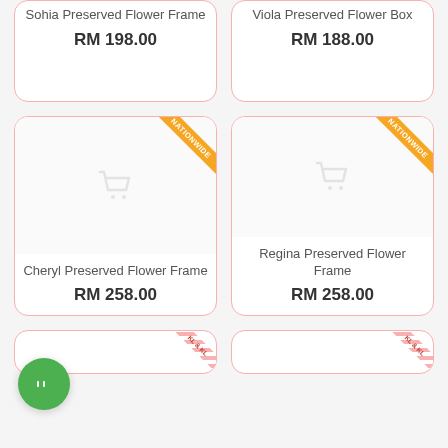Sohia Preserved Flower Frame
RM 198.00
Viola Preserved Flower Box
RM 188.00
[Figure (other): Product card with NATIONWIDE ribbon badge, shopping cart placeholder icon, product name: Cheryl Preserved Flower Frame, price: RM 258.00]
[Figure (other): Product card with NATIONWIDE ribbon badge, shopping cart placeholder icon, product name: Regina Preserved Flower Frame, price: RM 258.00]
Cheryl Preserved Flower Frame
RM 258.00
Regina Preserved Flower Frame
RM 258.00